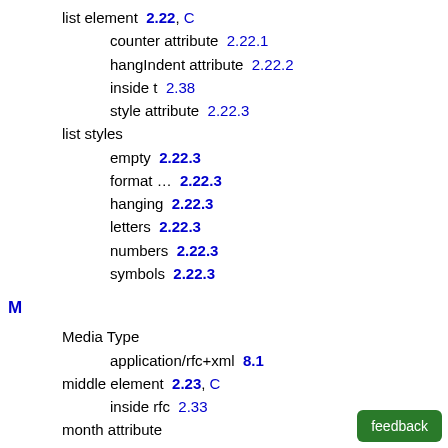list element  2.22, C
counter attribute  2.22.1
hangIndent attribute  2.22.2
inside t  2.38
style attribute  2.22.3
list styles
empty  2.22.3
format …  2.22.3
hanging  2.22.3
letters  2.22.3
numbers  2.22.3
symbols  2.22.3
M
Media Type
application/rfc+xml  8.1
middle element  2.23, C
inside rfc  2.33
month attribute
in date element  2.13.2